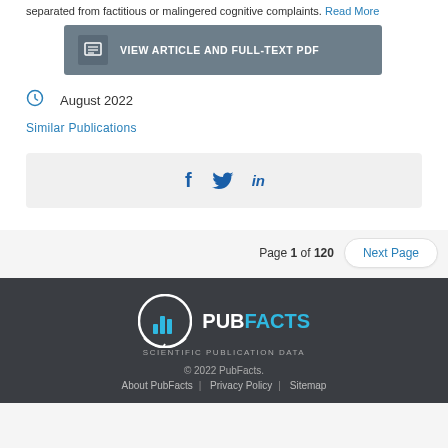separated from factitious or malingered cognitive complaints. Read More
VIEW ARTICLE AND FULL-TEXT PDF
August 2022
Similar Publications
[Figure (infographic): Social share icons: Facebook, Twitter, LinkedIn]
Page 1 of 120  Next Page
[Figure (logo): PubFacts Scientific Publication Data logo]
© 2022 PubFacts.
About PubFacts | Privacy Policy | Sitemap